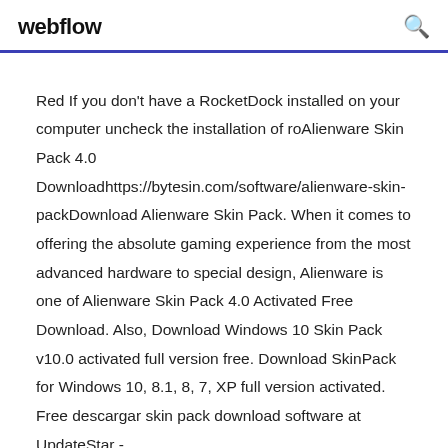webflow
Red If you don't have a RocketDock installed on your computer uncheck the installation of roAlienware Skin Pack 4.0 Downloadhttps://bytesin.com/software/alienware-skin-packDownload Alienware Skin Pack. When it comes to offering the absolute gaming experience from the most advanced hardware to special design, Alienware is one of Alienware Skin Pack 4.0 Activated Free Download. Also, Download Windows 10 Skin Pack v10.0 activated full version free. Download SkinPack for Windows 10, 8.1, 8, 7, XP full version activated. Free descargar skin pack download software at UpdateStar -